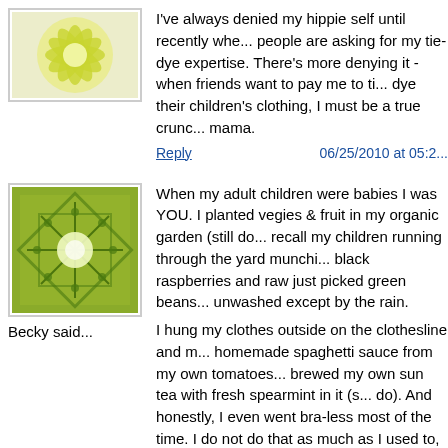[Figure (illustration): Green floral/mandala avatar icon with light yellow-green flower design on white background, bordered]
I've always denied my hippie self until recently whe... people are asking for my tie-dye expertise. There's more denying it - when friends want to pay me to ti... dye their children's clothing, I must be a true crunc... mama.
Reply	06/25/2010 at 05:2...
[Figure (illustration): Green geometric/snowflake avatar icon with dark green pattern on lighter green background, bordered]
Becky said...
When my adult children were babies I was YOU. I planted vegies & fruit in my organic garden (still do... recall my children running through the yard munchi... black raspberries and raw just picked green beans... unwashed except by the rain.
I hung my clothes outside on the clothesline and m... homemade spaghetti sauce from my own tomatoes... brewed my own sun tea with fresh spearmint in it (s... do). And honestly, I even went bra-less most of the time. I do not do that as much as I used to, not as comfortable as it used to be.
It feels so good to be a mom and to just be yoursel... enjoying each day and loving you kids. Now my ki...